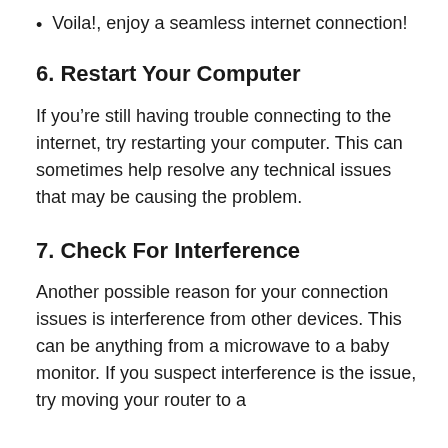Voila!, enjoy a seamless internet connection!
6. Restart Your Computer
If you’re still having trouble connecting to the internet, try restarting your computer. This can sometimes help resolve any technical issues that may be causing the problem.
7. Check For Interference
Another possible reason for your connection issues is interference from other devices. This can be anything from a microwave to a baby monitor. If you suspect interference is the issue, try moving your router to a